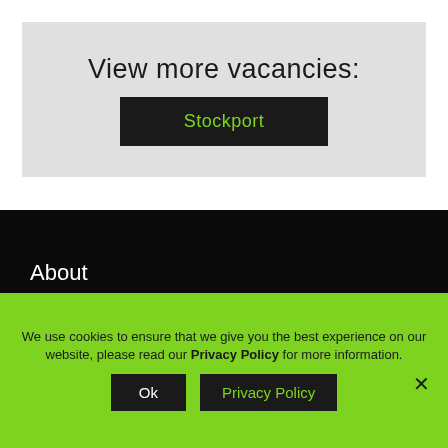View more vacancies:
Stockport
About
Vacancies
Working with GR
We use cookies to ensure that we give you the best experience on our website, please read our Privacy Policy for more information.
Ok
Privacy Policy